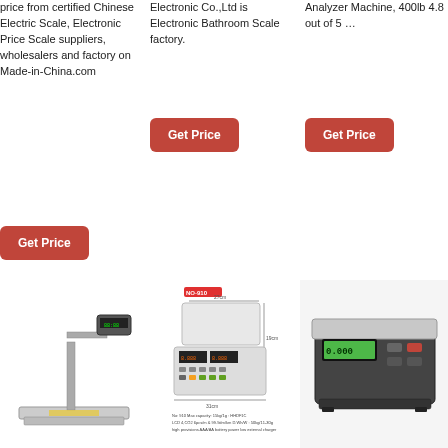price from certified Chinese Electric Scale, Electronic Price Scale suppliers, wholesalers and factory on Made-in-China.com
Electronic Co.,Ltd is Electronic Bathroom Scale factory.
Analyzer Machine, 400lb 4.8 out of 5 …
Get Price
Get Price
Get Price
[Figure (photo): Electronic price computing scale with pole-mounted display]
[Figure (photo): NO-910 electronic price computing scale with dimensions labeled]
[Figure (photo): Compact electronic weighing scale with green LCD display]